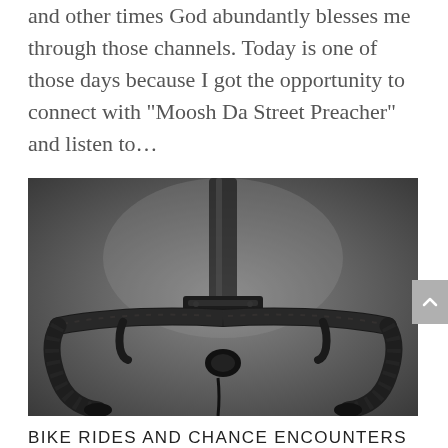and other times God abundantly blesses me through those channels. Today is one of those days because I got the opportunity to connect with “Moosh Da Street Preacher” and listen to…
[Figure (photo): Close-up front view of a road bicycle's drop handlebars, stem, and fork top, shot against a dark gray blurred background. The handlebars are wrapped in dark tape with thin stripe details.]
BIKE RIDES AND CHANCE ENCOUNTERS